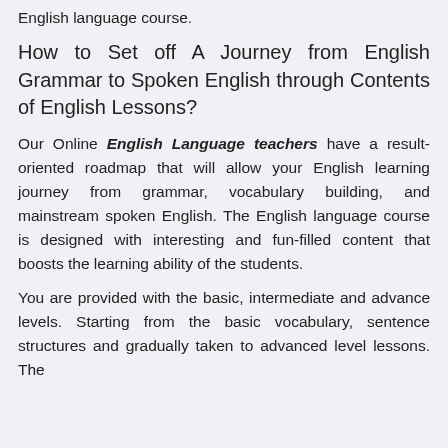English language course.
How to Set off A Journey from English Grammar to Spoken English through Contents of English Lessons?
Our Online English Language teachers have a result-oriented roadmap that will allow your English learning journey from grammar, vocabulary building, and mainstream spoken English. The English language course is designed with interesting and fun-filled content that boosts the learning ability of the students.
You are provided with the basic, intermediate and advance levels. Starting from the basic vocabulary, sentence structures and gradually taken to advanced level lessons. The